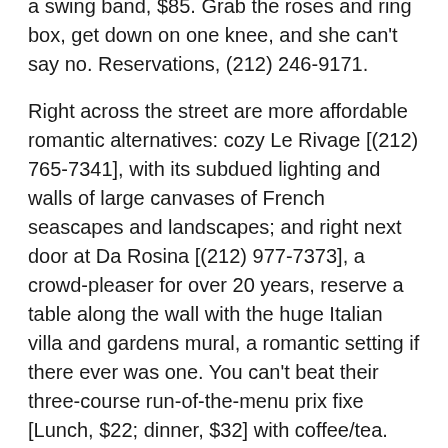a swing band, $85. Grab the roses and ring box, get down on one knee, and she can't say no. Reservations, (212) 246-9171.
Right across the street are more affordable romantic alternatives: cozy Le Rivage [(212) 765-7341], with its subdued lighting and walls of large canvases of French seascapes and landscapes; and right next door at Da Rosina [(212) 977-7373], a crowd-pleaser for over 20 years, reserve a table along the wall with the huge Italian villa and gardens mural, a romantic setting if there ever was one. You can't beat their three-course run-of-the-menu prix fixe [Lunch, $22; dinner, $32] with coffee/tea. Break out the Champagne and wine, as both have lists that won't make your blood boil when you get the check.
Downtown, Greenwich Village: